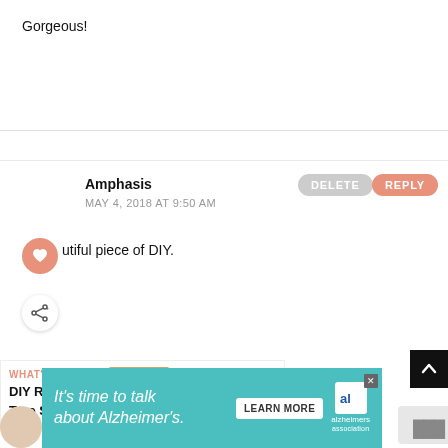Gorgeous!
Amphasis
MAY 4, 2018 AT 9:50 AM
utiful piece of DIY.
[Figure (other): What's next promo box: DIY Rustic Log Tree Stump...]
[Figure (other): Advertisement banner: It's time to talk about Alzheimer's. LEARN MORE. Alzheimer's Association logo.]